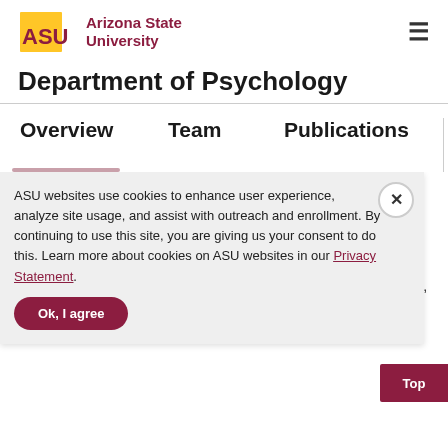[Figure (logo): Arizona State University logo with ASU text and sunburst icon]
Department of Psychology
Overview
Team
Publications
RIPL (Research in Prevention Lab) focuses on prevention research to influence public health and increase healthy behavior. Additionally, the lab conducts quantitative research focused on methodology, exploring innovative methods to analyze data gathered for research in all disciplines. Current and past projects include work developing and evaluating mediation analysis (MEDIATION), identifying risky
ASU websites use cookies to enhance user experience, analyze site usage, and assist with outreach and enrollment. By continuing to use this site, you are giving us your consent to do this. Learn more about cookies on ASU websites in our Privacy Statement.
Ok, I agree